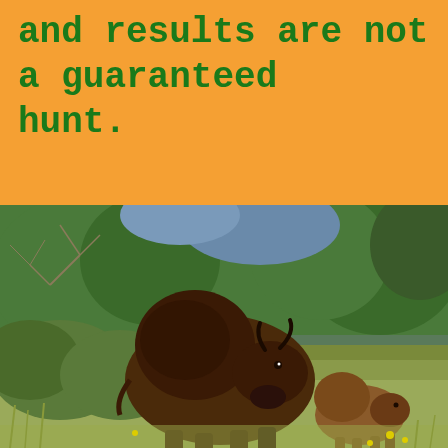and results are not a guaranteed hunt.
[Figure (photo): A large brown bison and a smaller calf standing in tall grass with green shrubs and trees in the background.]